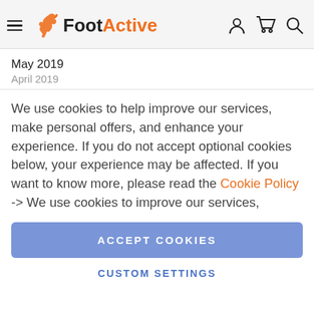[Figure (logo): FootActive logo with kangaroo graphic, hamburger menu icon on left, user/cart/search icons on right]
May 2019
April 2019
We use cookies to help improve our services, make personal offers, and enhance your experience. If you do not accept optional cookies below, your experience may be affected. If you want to know more, please read the Cookie Policy -> We use cookies to improve our services,
ACCEPT COOKIES
CUSTOM SETTINGS